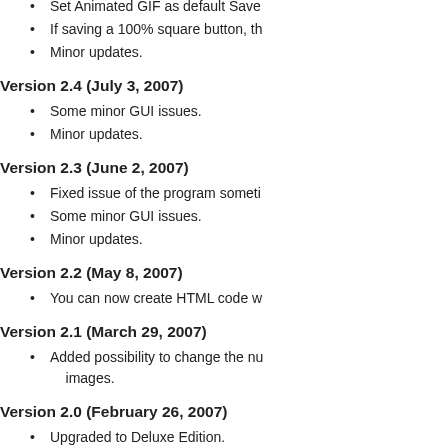Set Animated GIF as default Save
If saving a 100% square button, th
Minor updates.
Version 2.4 (July 3, 2007)
Some minor GUI issues.
Minor updates.
Version 2.3 (June 2, 2007)
Fixed issue of the program someti
Some minor GUI issues.
Minor updates.
Version 2.2 (May 8, 2007)
You can now create HTML code w
Version 2.1 (March 29, 2007)
Added possibility to change the nu images.
Version 2.0 (February 26, 2007)
Upgraded to Deluxe Edition.
Added 2 more button skins, XP an
Added Create HTML Code feature
Other minor updates.